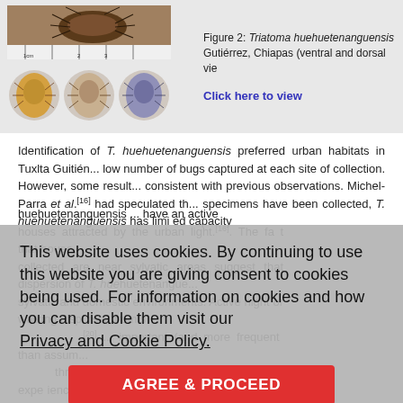[Figure (photo): Photographs of Triatoma huehuetenanguensis: top image shows a single bug with ruler for scale; bottom row shows three specimens (ventral and dorsal views) in circular dishes.]
Figure 2: Triatoma huehuetenanguensis Gutiérrez, Chiapas (ventral and dorsal vie...
Click here to view
Identification of T. huehuetenanguensis preferred urban habitats in Tuxlta Guitién... low number of bugs captured at each site of collection. However, some result... consistent with previous observations. Michel-Parra et al.[16] had speculated th... specimens have been collected, T. huehuetenanguensis has limited capacity... huehuetenanguensis... have an active... houses attracted by the urban light.[16] The fact that houses... collected are near sylvatic areas suggest that dispersion of T. huehuetenangue... sylvatic and domestic environments. Active night or walking dispersal, from s... colonization.[20] ... important (and more frequent) than assum... Last three decades Tuxtla Gutiérrez has experienced signi... urban area, leading to changes in land use[21]. Also, recent wildfires in the Mact... changing the habitat and behaviour of the specie[22], inciting bug dispersion an... blood-feeding sources. The loss of conserved areas increases the likelihood of... into contact with humans[23].
This website uses cookies. By continuing to use this website you are giving consent to cookies being used. For information on cookies and how you can disable them visit our Privacy and Cookie Policy.